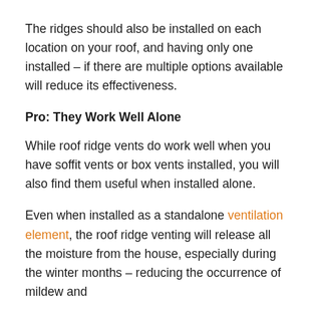The ridges should also be installed on each location on your roof, and having only one installed – if there are multiple options available will reduce its effectiveness.
Pro: They Work Well Alone
While roof ridge vents do work well when you have soffit vents or box vents installed, you will also find them useful when installed alone.
Even when installed as a standalone ventilation element, the roof ridge venting will release all the moisture from the house, especially during the winter months – reducing the occurrence of mildew and